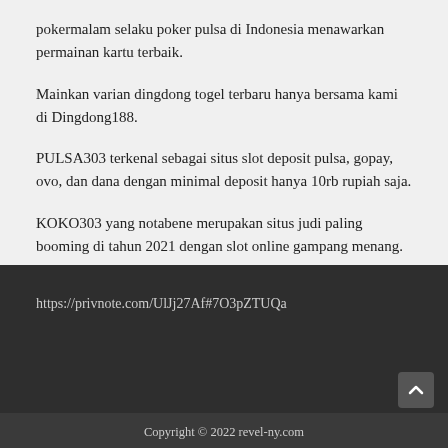pokermalam selaku poker pulsa di Indonesia menawarkan permainan kartu terbaik.
Mainkan varian dingdong togel terbaru hanya bersama kami di Dingdong188.
PULSA303 terkenal sebagai situs slot deposit pulsa, gopay, ovo, dan dana dengan minimal deposit hanya 10rb rupiah saja.
KOKO303 yang notabene merupakan situs judi paling booming di tahun 2021 dengan slot online gampang menang.
https://privnote.com/UlJj27Af#7O3pZTUQa
Copyright © 2022 revel-ny.com